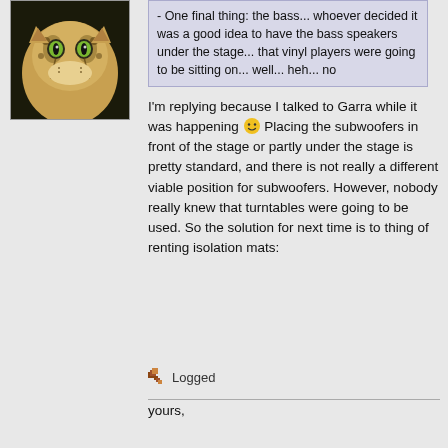[Figure (illustration): Cheetah/big cat avatar illustration with green eyes and spotted fur on dark background]
- One final thing: the bass... whoever decided it was a good idea to have the bass speakers under the stage... that vinyl players were going to be sitting on... well... heh... no
I'm replying because I talked to Garra while it was happening 🙂 Placing the subwoofers in front of the stage or partly under the stage is pretty standard, and there is not really a different viable position for subwoofers. However, nobody really knew that turntables were going to be used. So the solution for next time is to thing of renting isolation mats:
Logged
yours,

Cheetah